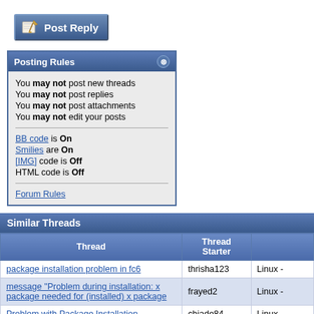[Figure (screenshot): Post Reply button with pencil/paper icon]
| Posting Rules |
| --- |
| You may not post new threads |
| You may not post replies |
| You may not post attachments |
| You may not edit your posts |
| BB code is On |
| Smilies are On |
| [IMG] code is Off |
| HTML code is Off |
| Forum Rules |
| Thread | Thread Starter | Forum |
| --- | --- | --- |
| package installation problem in fc6 | thrisha123 | Linux - |
| message "Problem during installation: x package needed for (installed) x package" | frayed2 | Linux - |
| Problem with Package Installation | chjade84 | Linux - |
| debhelper help!!!!!!!!!!!!! | another2 | Debian |
| package installation problem | billwoody | Linux - |